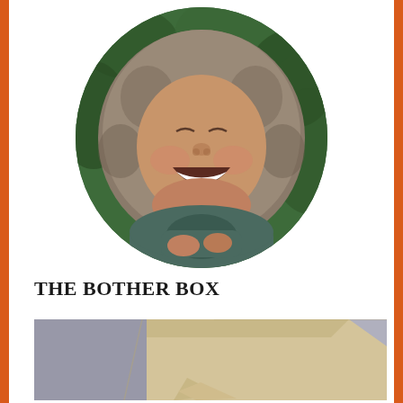[Figure (photo): Child laughing with eyes closed, wearing a fur-trimmed hooded jacket, outdoors with green foliage background. Photo is cropped in an oval/rounded shape.]
THE BOTHER BOX
[Figure (photo): A cardboard box or envelope partially visible on a grey and beige background, bottom portion of image.]